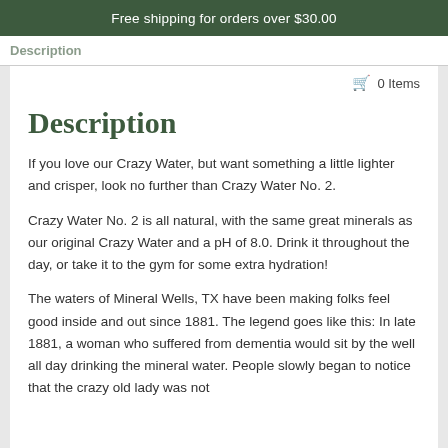Free shipping for orders over $30.00
Description
Description
If you love our Crazy Water, but want something a little lighter and crisper, look no further than Crazy Water No. 2.
Crazy Water No. 2 is all natural, with the same great minerals as our original Crazy Water and a pH of 8.0. Drink it throughout the day, or take it to the gym for some extra hydration!
The waters of Mineral Wells, TX have been making folks feel good inside and out since 1881. The legend goes like this: In late 1881, a woman who suffered from dementia would sit by the well all day drinking the mineral water. People slowly began to notice that the crazy old lady was not